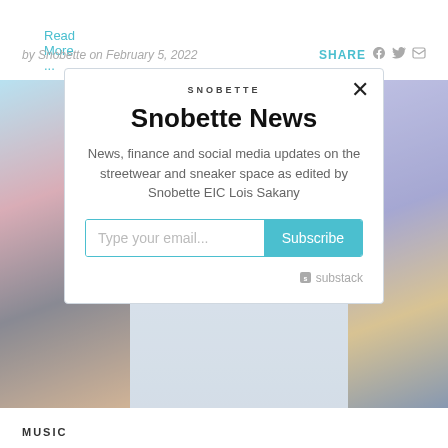Read More ...
by Snobette on February 5, 2022
SHARE
[Figure (screenshot): Background article preview image with colorful illustrated scenes on left and right sides, partially obscured by modal overlay]
[Figure (infographic): Snobette newsletter subscription modal with title 'Snobette News', description text, email input, Subscribe button, and Substack logo]
MUSIC